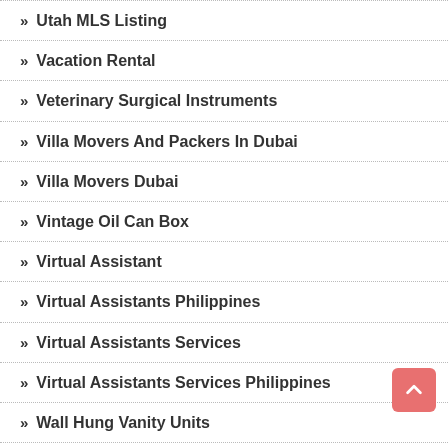Utah MLS Listing
Vacation Rental
Veterinary Surgical Instruments
Villa Movers And Packers In Dubai
Villa Movers Dubai
Vintage Oil Can Box
Virtual Assistant
Virtual Assistants Philippines
Virtual Assistants Services
Virtual Assistants Services Philippines
Wall Hung Vanity Units
Wall Tiling Milton Keynes
Ware House Cleaning Melbourne